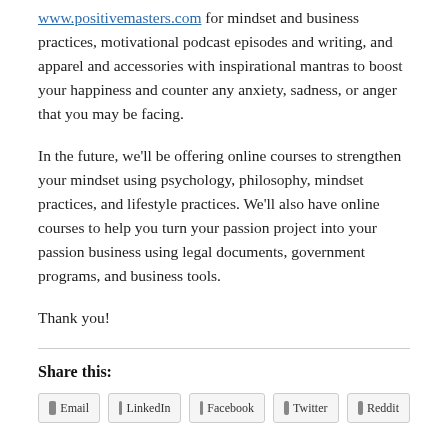www.positivemasters.com for mindset and business practices, motivational podcast episodes and writing, and apparel and accessories with inspirational mantras to boost your happiness and counter any anxiety, sadness, or anger that you may be facing.
In the future, we'll be offering online courses to strengthen your mindset using psychology, philosophy, mindset practices, and lifestyle practices. We'll also have online courses to help you turn your passion project into your passion business using legal documents, government programs, and business tools.
Thank you!
Share this: